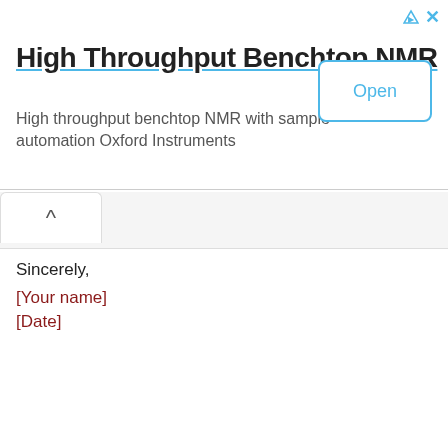[Figure (screenshot): Advertisement banner for High Throughput Benchtop NMR by Oxford Instruments with an Open button]
Sincerely,
[Your name]
[Date]